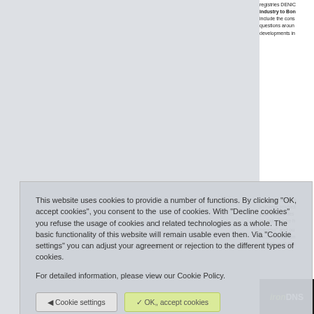registries DENIC industry to Bon include the cons questions around developments in
Meet our team in software product year's focus lies we will also be h mambo+ and our Profit from gettin all their useful fu
Make an appoint booth. See you there!
This website uses cookies to provide a number of functions. By clicking "OK, accept cookies", you consent to the use of cookies. With "Decline cookies" you refuse the usage of cookies and related technologies as a whole. The basic functionality of this website will remain usable even then. Via "Cookie settings" you can adjust your agreement or rejection to the different types of cookies.
For detailed information, please view our Cookie Policy.
Cookie settings
OK, accept cookies
Decline cookies